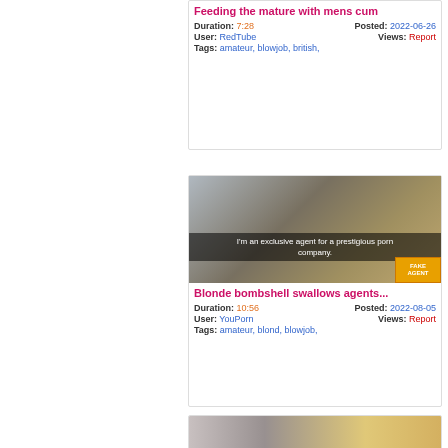Feeding the mature with mens cum
Duration: 7:28   Posted: 2022-06-26
User: RedTube   Views:   Report
Tags: amateur, blowjob, british,
[Figure (photo): Video thumbnail showing a blonde woman in a room with subtitle text: I'm an exclusive agent for a prestigious porn company. Fake Agent logo visible.]
Blonde bombshell swallows agents...
Duration: 10:56   Posted: 2022-08-05
User: YouPorn   Views:   Report
Tags: amateur, blond, blowjob,
[Figure (photo): Partial video thumbnail showing a woman with gold/blonde hair and teal bikini top, lying down.]